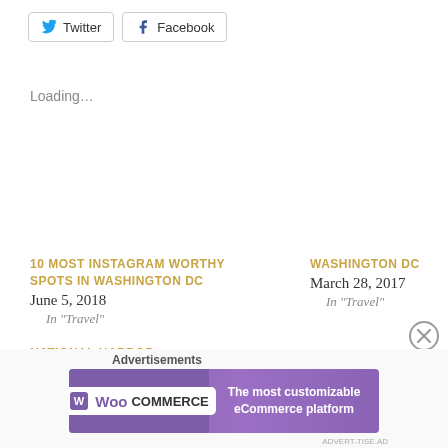Twitter
Facebook
Loading...
10 MOST INSTAGRAM WORTHY SPOTS IN WASHINGTON DC
June 5, 2018
In "Travel"
WASHINGTON DC
March 28, 2017
In "Travel"
NATIONAL HARBOR, MARYLAND
April 4, 2017
In "Travel"
[Figure (other): Close/dismiss button (circled X icon)]
Advertisements
[Figure (other): WooCommerce advertisement banner: 'The most customizable eCommerce platform']